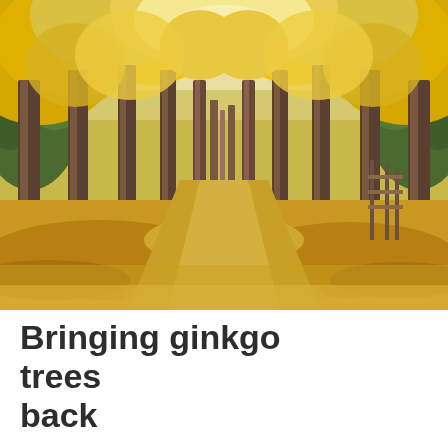[Figure (photo): A tree-lined path or avenue covered with fallen golden-yellow ginkgo leaves. Tall brown tree trunks form two parallel rows on either side, with bright yellow ginkgo foliage canopy above. The ground is completely blanketed in yellow leaves. Green evergreen trees are visible in the background. The scene has a warm autumn atmosphere.]
Bringing ginkgo trees back